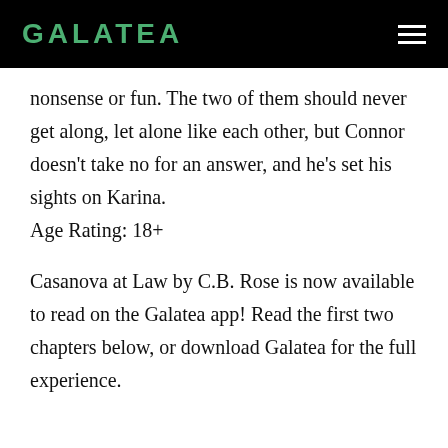GALATEA
nonsense or fun. The two of them should never get along, let alone like each other, but Connor doesn't take no for an answer, and he's set his sights on Karina.
Age Rating: 18+
Casanova at Law by C.B. Rose is now available to read on the Galatea app! Read the first two chapters below, or download Galatea for the full experience.